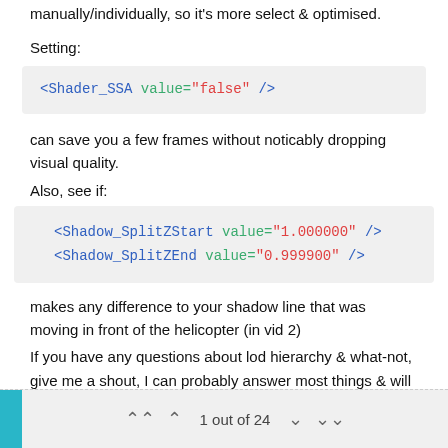manually/individually, so it's more select & optimised.
Setting:
<Shader_SSA value="false" />
can save you a few frames without noticably dropping visual quality.
Also, see if:
<Shadow_SplitZStart value="1.000000" />
<Shadow_SplitZEnd value="0.999900" />
makes any difference to your shadow line that was moving in front of the helicopter (in vid 2)
If you have any questions about lod hierarchy & what-not, give me a shout, I can probably answer most things & will be sussing out new things each day I work on it 👍
1 out of 24